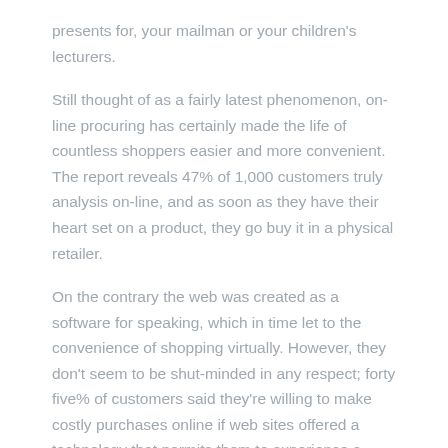presents for, your mailman or your children's lecturers.
Still thought of as a fairly latest phenomenon, on-line procuring has certainly made the life of countless shoppers easier and more convenient. The report reveals 47% of 1,000 customers truly analysis on-line, and as soon as they have their heart set on a product, they go buy it in a physical retailer.
On the contrary the web was created as a software for speaking, which in time let to the convenience of shopping virtually. However, they don't seem to be shut-minded in any respect; forty five% of customers said they're willing to make costly purchases online if web sites offered a technology that permits them to experience a product so that they'll make informed selections.
Some homes set aside in the future close to Christmas for household and prolonged family to spend Christmas